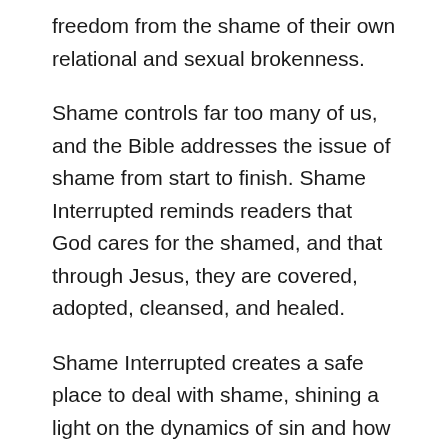freedom from the shame of their own relational and sexual brokenness.
Shame controls far too many of us, and the Bible addresses the issue of shame from start to finish. Shame Interrupted reminds readers that God cares for the shamed, and that through Jesus, they are covered, adopted, cleansed, and healed.
Shame Interrupted creates a safe place to deal with shame, shining a light on the dynamics of sin and how it is overcome through the power of Christ. By identifying with our shame on the cross, Jesus gives believers freedom from the paralyzing effects of sin and shame.
As someone who is familiar with the effects and crushing weight of shameand the overwhelming freedom found in